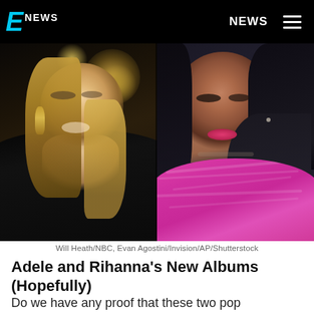E NEWS | NEWS
[Figure (photo): Split photo: left side shows Adele laughing in a black off-shoulder dress with chandelier earrings; right side shows Rihanna in a hot pink ruffled strapless gown, looking at camera]
Will Heath/NBC, Evan Agostini/Invision/AP/Shutterstock
Adele and Rihanna's New Albums (Hopefully)
Do we have any proof that these two pop powerhouses will finally drop some new material in